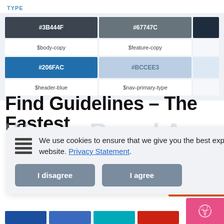TYPE
[Figure (infographic): Color palette grid showing type colors: #3B444F ($body-copy), #67747C ($feature-copy), dark navy, #206FAC ($header-blue), #BCCEE3 ($nav-primary-type), pale blue]
Find Guidelines – The Fastest
We use cookies to ensure that we give you the best experience on our website. Privacy Statement.
I disagree
I agree